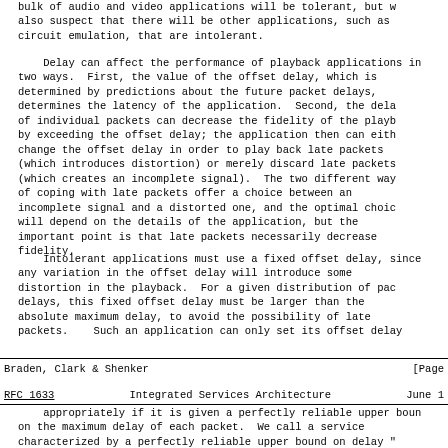bulk of audio and video applications will be tolerant, but we also suspect that there will be other applications, such as circuit emulation, that are intolerant.
Delay can affect the performance of playback applications in two ways.  First, the value of the offset delay, which is determined by predictions about the future packet delays, determines the latency of the application.  Second, the delay of individual packets can decrease the fidelity of the playback by exceeding the offset delay; the application then can either change the offset delay in order to play back late packets (which introduces distortion) or merely discard late packets (which creates an incomplete signal).  The two different ways of coping with late packets offer a choice between an incomplete signal and a distorted one, and the optimal choice will depend on the details of the application, but the important point is that late packets necessarily decrease fidelity.
Intolerant applications must use a fixed offset delay, since any variation in the offset delay will introduce some distortion in the playback.  For a given distribution of packet delays, this fixed offset delay must be larger than the absolute maximum delay, to avoid the possibility of late packets.   Such an application can only set its offset delay
Braden, Clark & Shenker                                        [Page
RFC 1633              Integrated Services Architecture           June 1
appropriately if it is given a perfectly reliable upper bound on the maximum delay of each packet.  We call a service characterized by a perfectly reliable upper bound on delay "